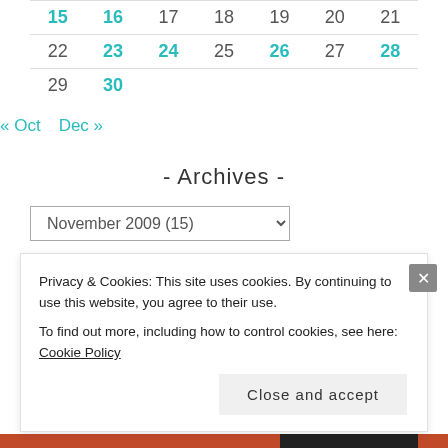| 15 | 16 | 17 | 18 | 19 | 20 | 21 |
| 22 | 23 | 24 | 25 | 26 | 27 | 28 |
| 29 | 30 |  |  |  |  |  |
« Oct   Dec »
- Archives -
November 2009 (15)
Privacy & Cookies: This site uses cookies. By continuing to use this website, you agree to their use.
To find out more, including how to control cookies, see here: Cookie Policy
Close and accept